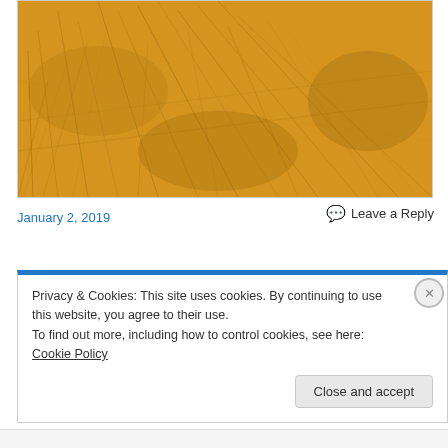[Figure (photo): Close-up photograph of golden/amber dried grass or wheat field filling the frame]
January 2, 2019
Leave a Reply
Privacy & Cookies: This site uses cookies. By continuing to use this website, you agree to their use.
To find out more, including how to control cookies, see here: Cookie Policy
Close and accept